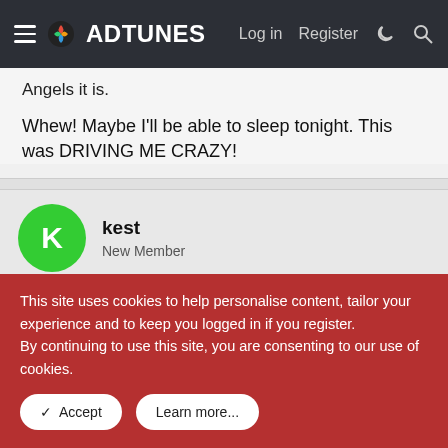ADTUNES — Log in | Register
Angels it is.
Whew! Maybe I'll be able to sleep tonight. This was DRIVING ME CRAZY!
kest
New Member
Feb 8, 2006  #5
This site uses cookies to help personalise content, tailor your experience and to keep you logged in if you register. By continuing to use this site, you are consenting to our use of cookies.